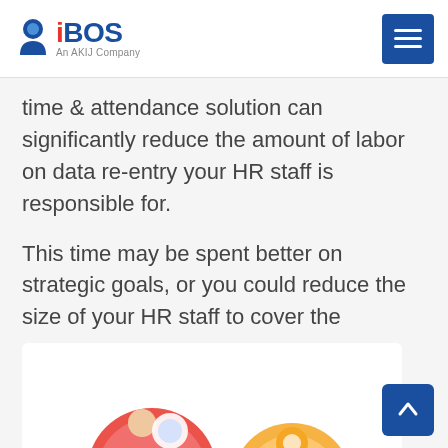iBOS — An AKIJ Company
time & attendance solution can significantly reduce the amount of labor on data re-entry your HR staff is responsible for.
This time may be spent better on strategic goals, or you could reduce the size of your HR staff to cover the expense of the HR software investment.
[Figure (illustration): Partial view of circular icons showing people/HR figures at the bottom of the page, partially cropped]